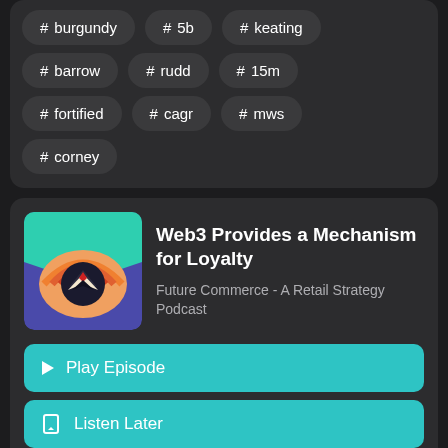# burgundy
# 5b
# keating
# barrow
# rudd
# 15m
# fortified
# cagr
# mws
# corney
Web3 Provides a Mechanism for Loyalty
Future Commerce - A Retail Strategy Podcast
▶ Play Episode
Listen Later